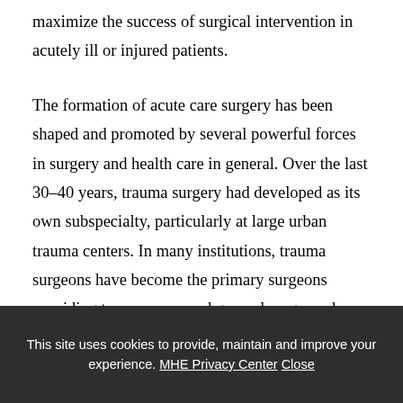maximize the success of surgical intervention in acutely ill or injured patients.
The formation of acute care surgery has been shaped and promoted by several powerful forces in surgery and health care in general. Over the last 30–40 years, trauma surgery had developed as its own subspecialty, particularly at large urban trauma centers. In many institutions, trauma surgeons have become the primary surgeons providing trauma care, and general surgeons have concentrated on
This site uses cookies to provide, maintain and improve your experience. MHE Privacy Center Close